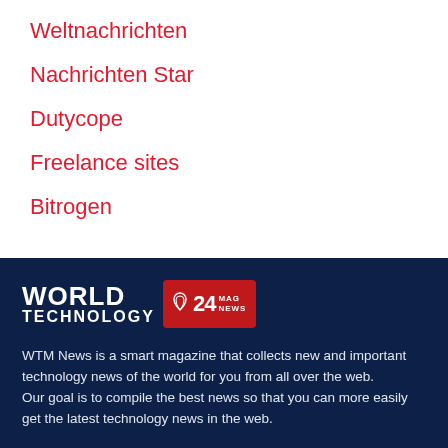Weltnachrichten
Nachrichten Star
Dutycope
Freelance sites
Bitrogen
[Figure (logo): World Technology 24 Mag News logo — white text 'WORLD TECHNOLOGY' on dark navy background, next to a red badge with '24' and 'MAG NEWS' text]
WTM News is a smart magazine that collects new and important technology news of the world for you from all over the web. Our goal is to compile the best news so that you can more easily get the latest technology news in the web.